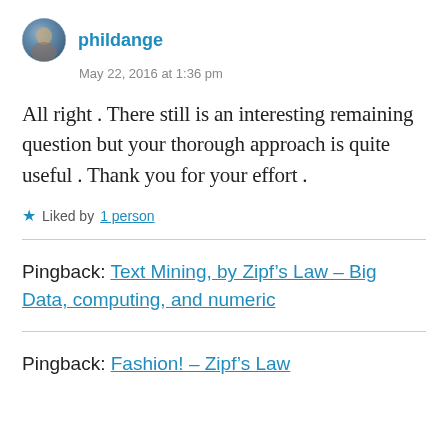phildange
May 22, 2016 at 1:36 pm
All right . There still is an interesting remaining question but your thorough approach is quite useful . Thank you for your effort .
Liked by 1 person
Pingback: Text Mining, by Zipf’s Law – Big Data, computing, and numeric
Pingback: Fashion! – Zipf's Law